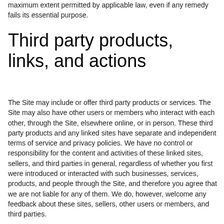maximum extent permitted by applicable law, even if any remedy fails its essential purpose.
Third party products, links, and actions
The Site may include or offer third party products or services. The Site may also have other users or members who interact with each other, through the Site, elsewhere online, or in person. These third party products and any linked sites have separate and independent terms of service and privacy policies. We have no control or responsibility for the content and activities of these linked sites, sellers, and third parties in general, regardless of whether you first were introduced or interacted with such businesses, services, products, and people through the Site, and therefore you agree that we are not liable for any of them. We do, however, welcome any feedback about these sites, sellers, other users or members, and third parties.